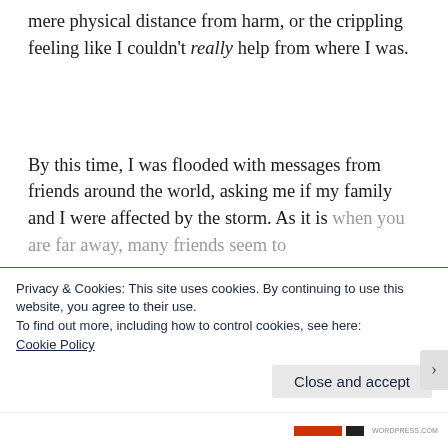mere physical distance from harm, or the crippling feeling like I couldn't really help from where I was.
By this time, I was flooded with messages from friends around the world, asking me if my family and I were affected by the storm. As it is when you are far away, many friends seem to
Privacy & Cookies: This site uses cookies. By continuing to use this website, you agree to their use.
To find out more, including how to control cookies, see here:
Cookie Policy